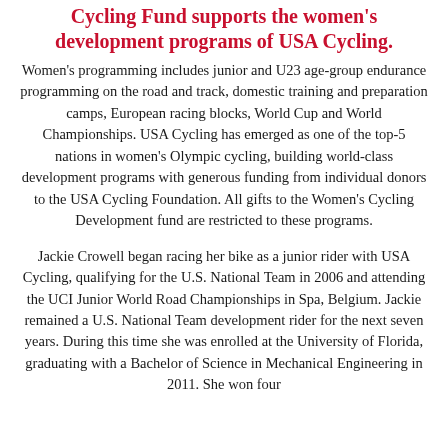Cycling Fund supports the women's development programs of USA Cycling.
Women's programming includes junior and U23 age-group endurance programming on the road and track, domestic training and preparation camps, European racing blocks, World Cup and World Championships. USA Cycling has emerged as one of the top-5 nations in women's Olympic cycling, building world-class development programs with generous funding from individual donors to the USA Cycling Foundation. All gifts to the Women's Cycling Development fund are restricted to these programs.
Jackie Crowell began racing her bike as a junior rider with USA Cycling, qualifying for the U.S. National Team in 2006 and attending the UCI Junior World Road Championships in Spa, Belgium. Jackie remained a U.S. National Team development rider for the next seven years. During this time she was enrolled at the University of Florida, graduating with a Bachelor of Science in Mechanical Engineering in 2011. She won four